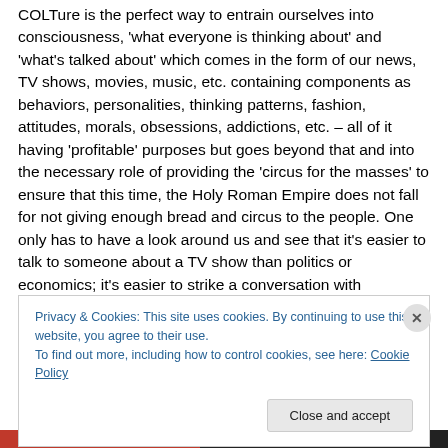COLTure is the perfect way to entrain ourselves into consciousness, 'what everyone is thinking about' and 'what's talked about' which comes in the form of our news, TV shows, movies, music, etc. containing components as behaviors, personalities, thinking patterns, fashion, attitudes, morals, obsessions, addictions, etc. – all of it having 'profitable' purposes but goes beyond that and into the necessary role of providing the 'circus for the masses' to ensure that this time, the Holy Roman Empire does not fall for not giving enough bread and circus to the people. One only has to have a look around us and see that it's easier to talk to someone about a TV show than politics or economics; it's easier to strike a conversation with
Privacy & Cookies: This site uses cookies. By continuing to use this website, you agree to their use.
To find out more, including how to control cookies, see here: Cookie Policy
Close and accept